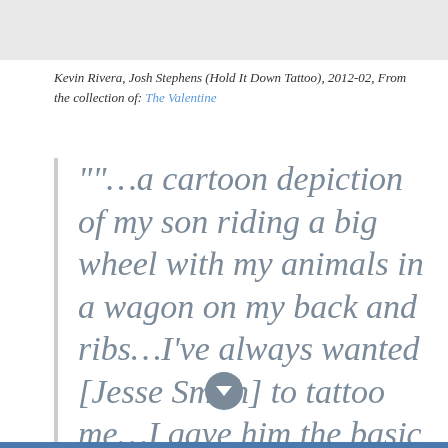[Figure (photo): Gray placeholder image area at top of page]
Kevin Rivera, Josh Stephens (Hold It Down Tattoo), 2012-02, From the collection of: The Valentine
""...a cartoon depiction of my son riding a big wheel with my animals in a wagon on my back and ribs...I've always wanted [Jesse Smith] to tattoo me...I gave him the basic concept and some reference pictures...I let him do the rest...""